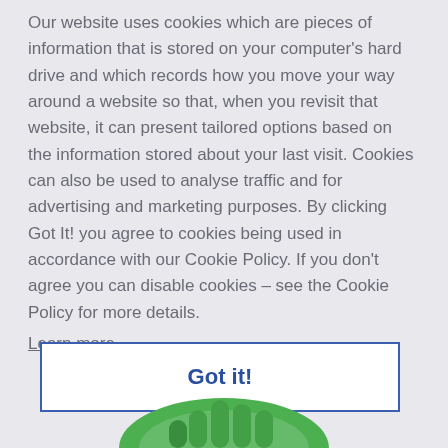Our website uses cookies which are pieces of information that is stored on your computer's hard drive and which records how you move your way around a website so that, when you revisit that website, it can present tailored options based on the information stored about your last visit. Cookies can also be used to analyse traffic and for advertising and marketing purposes. By clicking Got It! you agree to cookies being used in accordance with our Cookie Policy. If you don't agree you can disable cookies – see the Cookie Policy for more details.
Learn more
Got it!
[Figure (illustration): Partial green illustrated graphic visible at the bottom of the page]